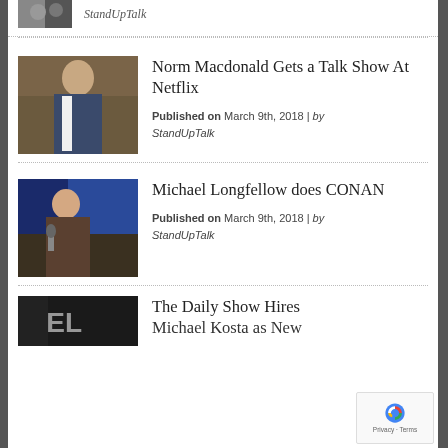[Figure (photo): Partial photo of a performer, cropped at top]
StandUpTalk
[Figure (photo): Norm Macdonald in a suit performing stand-up comedy on stage]
Norm Macdonald Gets a Talk Show At Netflix
Published on March 9th, 2018 | by StandUpTalk
[Figure (photo): Michael Longfellow performing stand-up with a microphone, on a stage with blue backdrop]
Michael Longfellow does CONAN
Published on March 9th, 2018 | by StandUpTalk
[Figure (photo): Partial image of a performer on stage, partially cropped at bottom]
The Daily Show Hires Michael Kosta as New